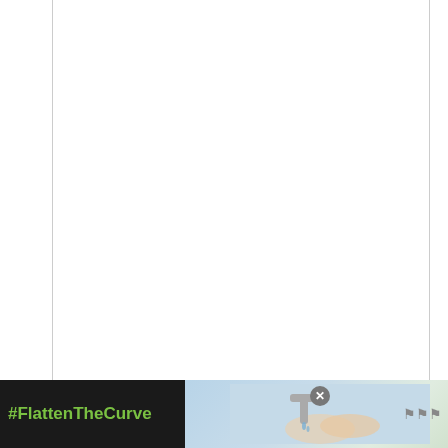Place the cream cheese and butter (or coconut oil) cut into small pieces in to a mixing bowl. Leave at room temperature for 30–60 minutes until softened. Make sure the butter is softened, otherwise it will be difficult to mix and achieve a smooth texture. Do not microwave the butter – the mixture needs to stay firm.
[Figure (other): Green circular heart/like button with number 23 below it, and a share icon below that — social media sidebar UI elements]
[Figure (other): Advertisement banner at bottom: dark background with '#FlattenTheCurve' hashtag in green, image of hands washing at a faucet, close X button, and logo marks on right]